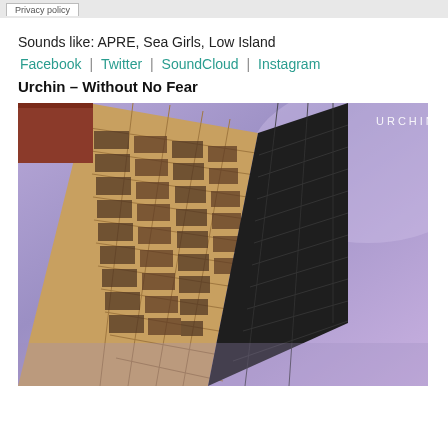Privacy policy
Sounds like: APRE, Sea Girls, Low Island
Facebook | Twitter | SoundCloud | Instagram
Urchin – Without No Fear
[Figure (photo): Album cover art for 'Without No Fear' by Urchin. A skyscraper/building photographed from below at a dramatic upward angle against a purple-blue gradient sky. The building has a golden/beige grid facade with dark windows. The word URCHIN appears in white uppercase letters in the upper right area of the image.]